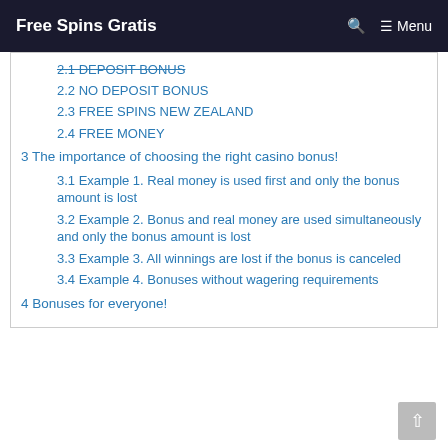Free Spins Gratis | Menu
2.1 DEPOSIT BONUS (strikethrough)
2.2 NO DEPOSIT BONUS
2.3 FREE SPINS NEW ZEALAND
2.4 FREE MONEY
3 The importance of choosing the right casino bonus!
3.1 Example 1. Real money is used first and only the bonus amount is lost
3.2 Example 2. Bonus and real money are used simultaneously and only the bonus amount is lost
3.3 Example 3. All winnings are lost if the bonus is canceled
3.4 Example 4. Bonuses without wagering requirements
4 Bonuses for everyone!